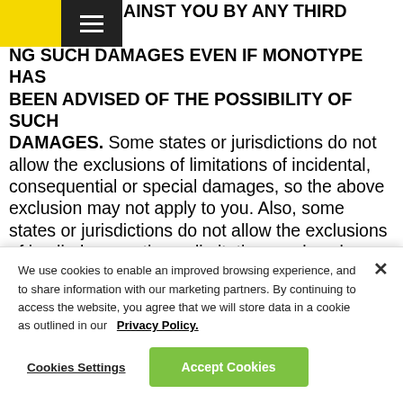[Monotype logo header with yellow block and hamburger menu]
NT CLAIM AGAINST YOU BY ANY THIRD PARTY. NG SUCH DAMAGES EVEN IF MONOTYPE HAS BEEN ADVISED OF THE POSSIBILITY OF SUCH DAMAGES. Some states or jurisdictions do not allow the exclusions of limitations of incidental, consequential or special damages, so the above exclusion may not apply to you. Also, some states or jurisdictions do not allow the exclusions of implied warranties or limitations on how long an implied warranty may last, so the above limitations may not apply to you. To the greatest extent permitted by law, any implied warranties not effectively excluded by the Agreement are limited to thirty (30) days. Some jurisdictions do not permit a limitation of implied warranties where the product results in physical injury or
We use cookies to enable an improved browsing experience, and to share information with our marketing partners. By continuing to access the website, you agree that we will store data in a cookie as outlined in our Privacy Policy.
Cookies Settings
Accept Cookies